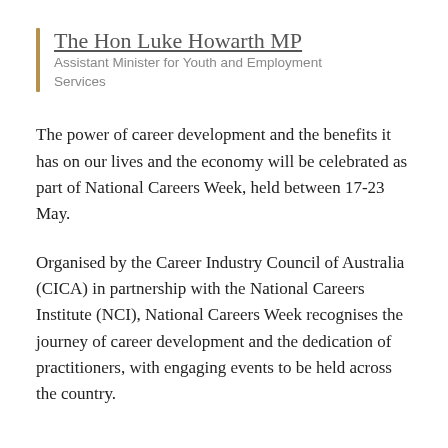The Hon Luke Howarth MP
Assistant Minister for Youth and Employment Services
The power of career development and the benefits it has on our lives and the economy will be celebrated as part of National Careers Week, held between 17-23 May.
Organised by the Career Industry Council of Australia (CICA) in partnership with the National Careers Institute (NCI), National Careers Week recognises the journey of career development and the dedication of practitioners, with engaging events to be held across the country.